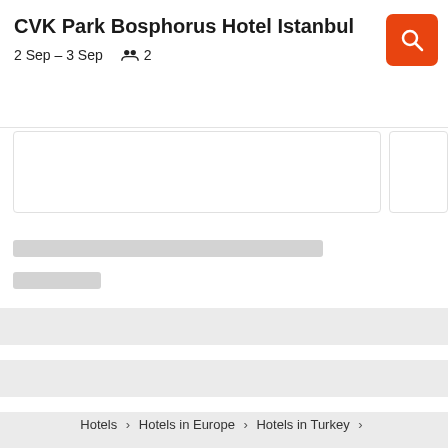CVK Park Bosphorus Hotel Istanbul
2 Sep – 3 Sep   👥 2
[Figure (screenshot): Loading skeleton placeholder image area with white card boxes]
[Figure (screenshot): Loading skeleton content bars: one long gray bar, one short gray bar, and three wider light gray bars below]
Hotels  >  Hotels in Europe  >  Hotels in Turkey  >